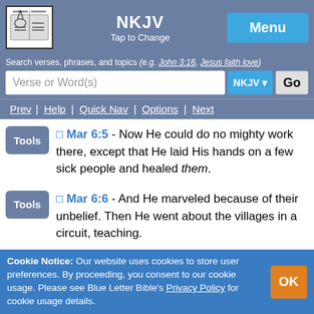NKJV
Tap to Change
Menu
Search verses, phrases, and topics (e.g. John 3:16, Jesus faith love)
Verse or Word(s)  NKJV  Go
Prev | Help | Quick Nav | Options | Next
Mar 6:5 - Now He could do no mighty work there, except that He laid His hands on a few sick people and healed them.
Mar 6:6 - And He marveled because of their unbelief. Then He went about the villages in a circuit, teaching.
Cookie Notice: Our website uses cookies to store user preferences. By proceeding, you consent to our cookie usage. Please see Blue Letter Bible's Privacy Policy for cookie usage details.